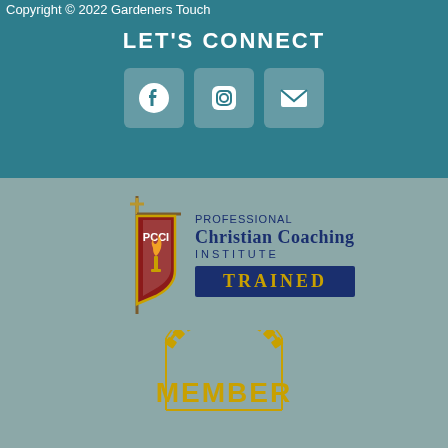Copyright © 2022 Gardeners Touch
LET'S CONNECT
[Figure (logo): Social media icons: Facebook, Instagram, Email in rounded square buttons]
[Figure (logo): PCCI - Professional Christian Coaching Institute TRAINED badge logo]
[Figure (logo): MEMBER badge with gear/sun border in gold color]